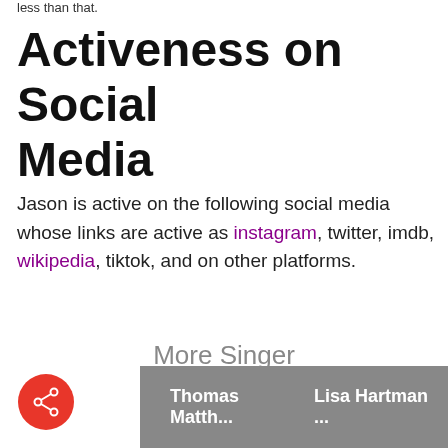less than that.
Activeness on Social Media
Jason is active on the following social media whose links are active as instagram, twitter, imdb, wikipedia, tiktok, and on other platforms.
More Singer
Thomas Matth...
Lisa Hartman ...